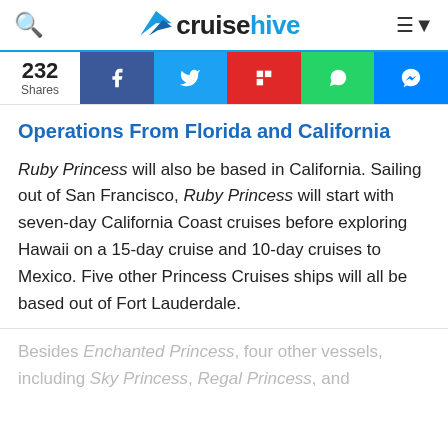cruisehive
232 Shares
Operations From Florida and California
Ruby Princess will also be based in California. Sailing out of San Francisco, Ruby Princess will start with seven-day California Coast cruises before exploring Hawaii on a 15-day cruise and 10-day cruises to Mexico. Five other Princess Cruises ships will all be based out of Fort Lauderdale.
Besides Enchanted Princess, four other vessels, including Sky Princess, Regal Princess, and